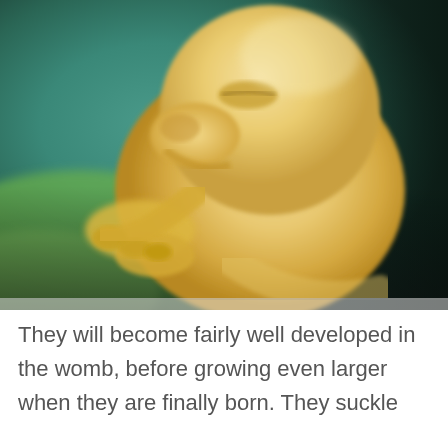[Figure (photo): Close-up photograph of a pig embryo/fetus in the womb, showing a yellowish-cream colored embryo with visible snout, closed eyes, and small leg/hoof buds, against a teal/green blurred background]
They will become fairly well developed in the womb, before growing even larger when they are finally born. They suckle